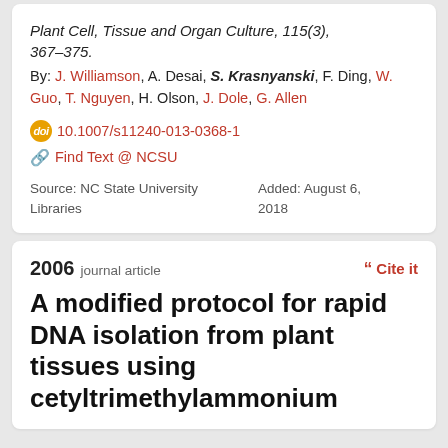Plant Cell, Tissue and Organ Culture, 115(3), 367–375.
By: J. Williamson, A. Desai, S. Krasnyanski, F. Ding, W. Guo, T. Nguyen, H. Olson, J. Dole, G. Allen
10.1007/s11240-013-0368-1
Find Text @ NCSU
Source: NC State University Libraries    Added: August 6, 2018
2006 journal article
A modified protocol for rapid DNA isolation from plant tissues using cetyltrimethylammonium bromide